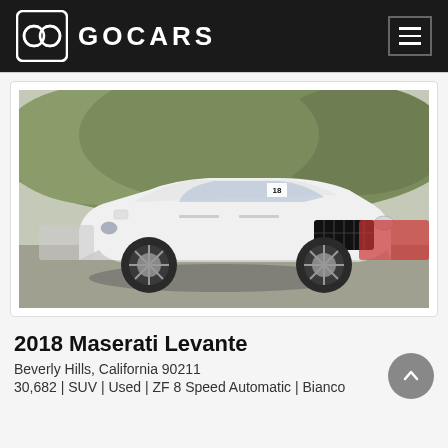GOCARS
[Figure (photo): White 2018 Maserati Levante SUV photographed in a parking lot with trees in background]
2018 Maserati Levante
Beverly Hills, California 90211
30,682 | SUV | Used | ZF 8 Speed Automatic | Bianco